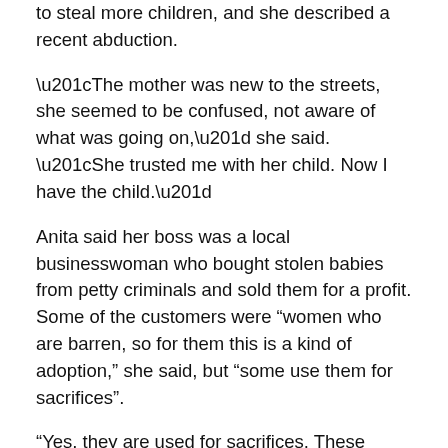to steal more children, and she described a recent abduction.
“The mother was new to the streets, she seemed to be confused, not aware of what was going on,” she said. “She trusted me with her child. Now I have the child.”
Anita said her boss was a local businesswoman who bought stolen babies from petty criminals and sold them for a profit. Some of the customers were “women who are barren, so for them this is a kind of adoption,” she said, but “some use them for sacrifices”.
“Yes, they are used for sacrifices. These children just disappear from the streets and they are never seen again.”
That dark hint echoed something Emma had already told us, that Anita said some buyers “take the kids for rituals”.
In reality, once Anita has sold a child on, she knows little